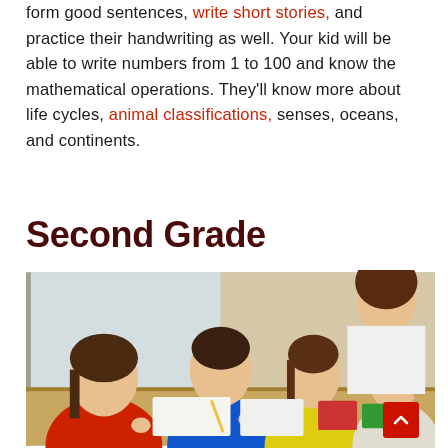form good sentences, write short stories, and practice their handwriting as well. Your kid will be able to write numbers from 1 to 100 and know the mathematical operations. They'll know more about life cycles, animal classifications, senses, oceans, and continents.
Second Grade
[Figure (photo): A teacher leaning over a table helping three young children who are writing in notebooks. The children are wearing colorful shirts (blue, yellow, red). The classroom setting has a window in the background.]